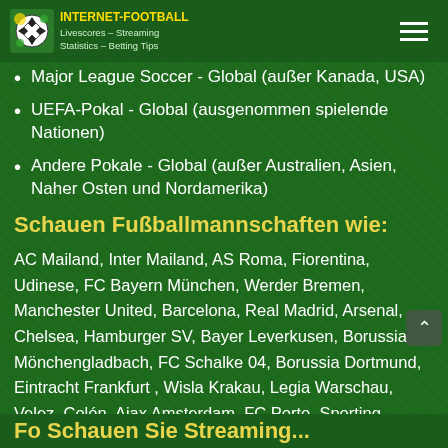INTERNET-FOOTBALL Livescores – Streaming Statistics – Betting Tips
Major League Soccer - Global (außer Kanada, USA)
UEFA-Pokal - Global (ausgenommen spielende Nationen)
Andere Pokale - Global (außer Australien, Asien, Naher Osten und Nordamerika)
Schauen Fußballmannschaften wie:
AC Mailand, Inter Mailand, AS Roma, Fiorentina, Udinese, FC Bayern München, Werder Bremen, Manchester United, Barcelona, Real Madrid, Arsenal, Chelsea, Hamburger SV, Bayer Leverkusen, Borussia Mönchengladbach, FC Schalke 04, Borussia Dortmund, Eintracht Frankfurt , Wisla Krakau, Legia Warschau, Velez, Colón, Ajax Amsterdam, FC Porto, Sporting Lissabon, Benfica Lissabon, São Paulo, Grêmio, Cruzeiro, FC Zürich, FC Basel, Melbourne, Adelaide United und viele andere.